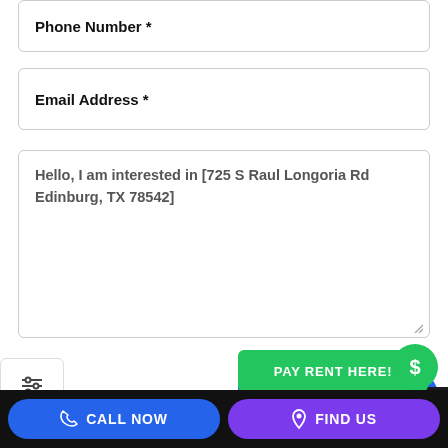Phone Number *
Email Address *
Hello, I am interested in [725 S Raul Longoria Rd Edinburg, TX 78542]
Submit Request
APPLY NOW!
PAY RENT HERE!
May 6, 2022   851 views
CALL NOW
FIND US